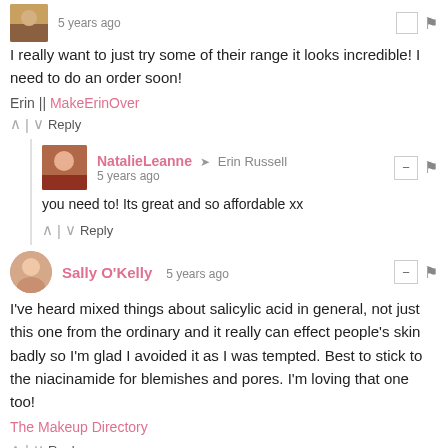5 years ago
I really want to just try some of their range it looks incredible! I need to do an order soon!
Erin || MakeErinOver
Reply
NataliLeanne → Erin Russell 5 years ago
you need to! Its great and so affordable xx
Reply
Sally O'Kelly 5 years ago
I've heard mixed things about salicylic acid in general, not just this one from the ordinary and it really can effect people's skin badly so I'm glad I avoided it as I was tempted. Best to stick to the niacinamide for blemishes and pores. I'm loving that one too!
The Makeup Directory
Reply